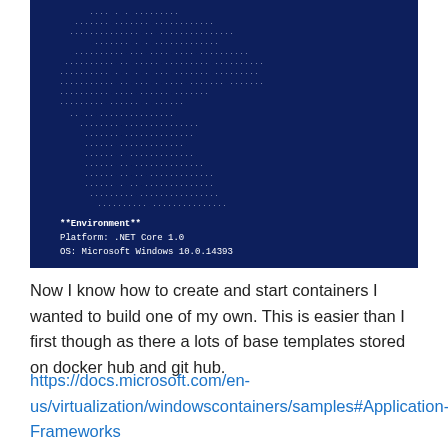[Figure (screenshot): A dark blue terminal/PowerShell window showing ASCII art made of dots (appears to be a whale or Docker logo) with text at the bottom: **Environment** / Platform: .NET Core 1.0 / OS: Microsoft Windows 10.0.14393]
Now I know how to create and start containers I wanted to build one of my own. This is easier than I first though as there a lots of base templates stored on docker hub and git hub.
https://docs.microsoft.com/en-us/virtualization/windowscontainers/samples#Application-Frameworks